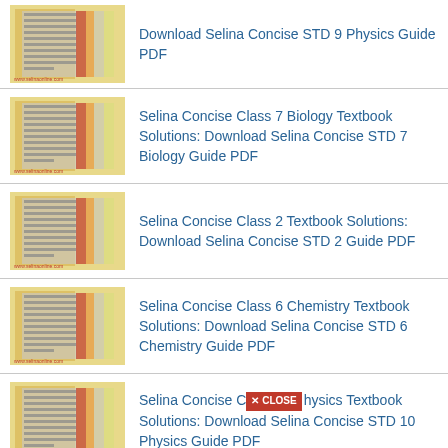Download Selina Concise STD 9 Physics Guide PDF
Selina Concise Class 7 Biology Textbook Solutions: Download Selina Concise STD 7 Biology Guide PDF
Selina Concise Class 2 Textbook Solutions: Download Selina Concise STD 2 Guide PDF
Selina Concise Class 6 Chemistry Textbook Solutions: Download Selina Concise STD 6 Chemistry Guide PDF
Selina Concise Class 10 Physics Textbook Solutions: Download Selina Concise STD 10 Physics Guide PDF
Selina Concise Class 8 Mathematics Textbook Solutions: Download Selina Concise STD 8...